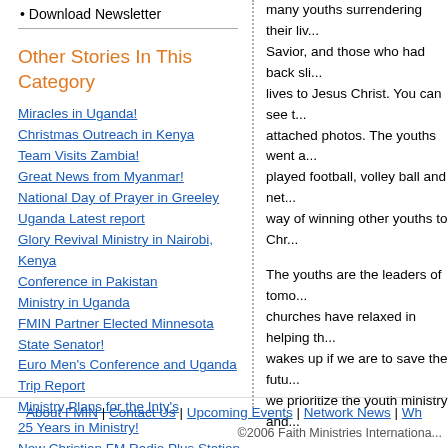• Download Newsletter
Other Stories In This Category
Miracles in Uganda!
Christmas Outreach in Kenya
Team Visits Zambia!
Great News from Myanmar!
National Day of Prayer in Greeley
Uganda Latest report
Glory Revival Ministry in Nairobi, Kenya
Conference in Pakistan
Ministry in Uganda
FMIN Partner Elected Minnesota State Senator!
Euro Men's Conference and Uganda Trip Report
Ministry Plans for the Inty's
25 Years in Ministry!
New Christian FM Radio Plus Station, Coventry, England
Good News from Jay Charles, Luz Mary and Harry Daniel Soper!
many youths surrendering their liv... Savior, and those who had back sli... lives to Jesus Christ. You can see t... attached photos. The youths went a... played football, volley ball and net... way of winning other youths to Chr...
The youths are the leaders of tomo... churches have relaxed in helping th... wakes up if we are to save the futu... we prioritize the youth ministry and...
Please enjoy the photos.
About FMIN | Contact Us | Upcoming Events | Network News | Wh...
©2006 Faith Ministries Internationa...